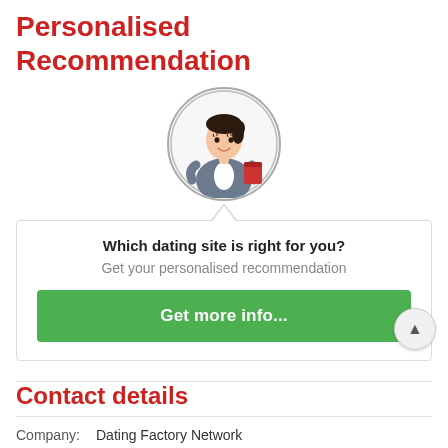Personalised Recommendation
[Figure (illustration): Cartoon avatar of a businesswoman in a grey suit holding a red folder, displayed inside a circular border]
Which dating site is right for you?
Get your personalised recommendation
Get more info...
Contact details
Company: Dating Factory Network
Address: LacMont AG, Landis + Gyr-Strasse 1,6300